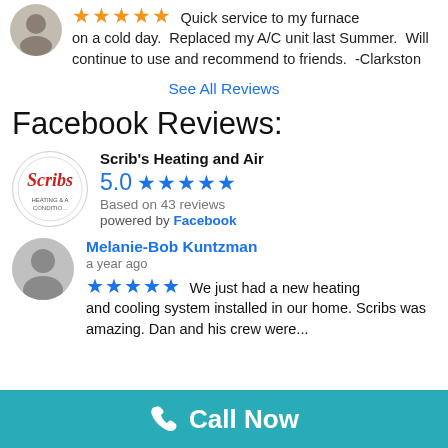★★★★★ Quick service to my furnace on a cold day.  Replaced my A/C unit last Summer.  Will continue to use and recommend to friends.   -Clarkston
See All Reviews
Facebook Reviews:
Scrib's Heating and Air
5.0 ★★★★★
Based on 43 reviews
powered by Facebook
Melanie-Bob Kuntzman
a year ago
★★★★★ We just had a new heating and cooling system installed in our home. Scribs was amazing. Dan and his crew were...
Call Now